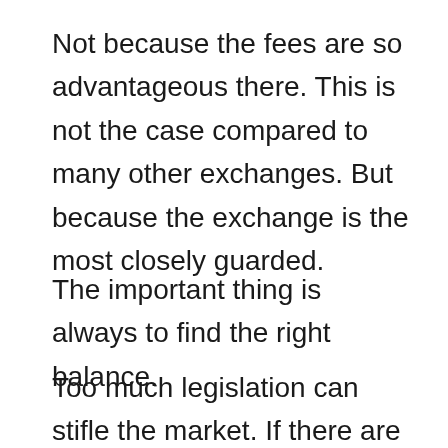Not because the fees are so advantageous there. This is not the case compared to many other exchanges. But because the exchange is the most closely guarded.
The important thing is always to find the right balance.
Too much legislation can stifle the market. If there are too few laws, the